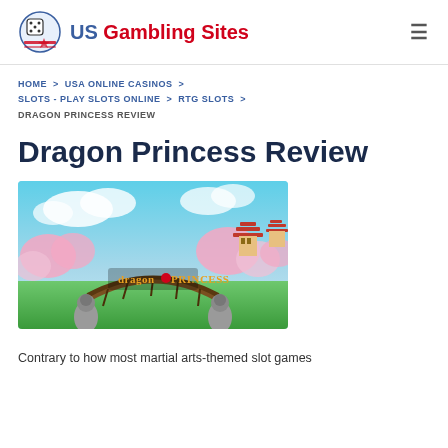US Gambling Sites
HOME > USA ONLINE CASINOS > SLOTS - PLAY SLOTS ONLINE > RTG SLOTS > DRAGON PRINCESS REVIEW
Dragon Princess Review
[Figure (screenshot): Dragon Princess slot game title screen showing a Japanese-themed scene with cherry blossoms, pagodas, stone guardian statues, a bridge, and the 'dragon princess' logo text in the center.]
Contrary to how most martial arts-themed slot games